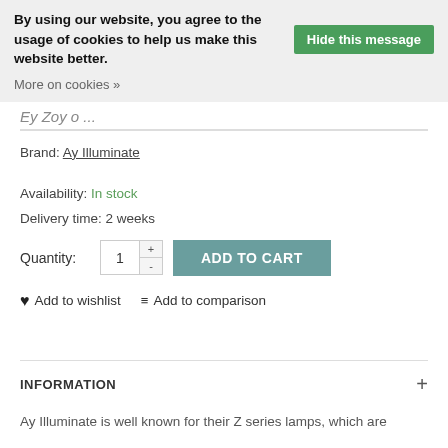By using our website, you agree to the usage of cookies to help us make this website better. Hide this message  More on cookies »
Ey Zoy o  ...
Brand: Ay Illuminate
Availability: In stock
Delivery time: 2 weeks
Quantity: 1  ADD TO CART
♥ Add to wishlist   ≡ Add to comparison
INFORMATION
Ay Illuminate is well known for their Z series lamps, which are